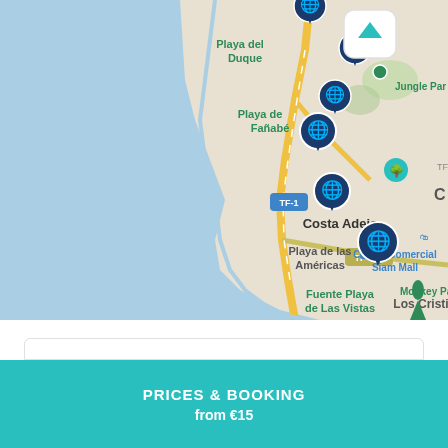[Figure (map): Google Maps screenshot showing coastal area of Tenerife, Spain. Locations visible: Playa del Duque, Playa de Fañabé, Costa Adeje, Centro Comercial Siam Mall, TF-1 highway, Playa de las Américas, Fuente Playa de Las Vistas, Los Cristianos, Monkey Park - Tenerife, Jungle Park. Multiple dark blue globe map-pin markers are shown. A white arrow-up navigation button is visible. An ocean/sea area is shown in blue on the left.]
YOU MAY ALSO LIKE
PRICES & BOOKING
from €15